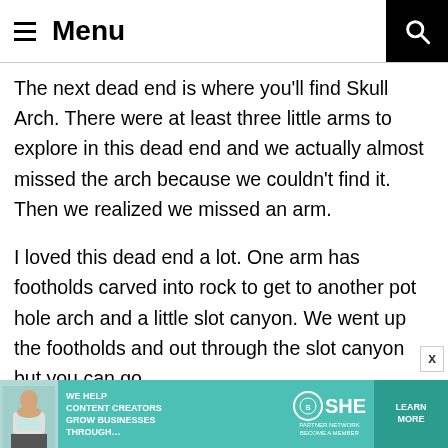Menu
The next dead end is where you'll find Skull Arch. There were at least three little arms to explore in this dead end and we actually almost missed the arch because we couldn't find it. Then we realized we missed an arm.
I loved this dead end a lot. One arm has footholds carved into rock to get to another pot hole arch and a little slot canyon. We went up the footholds and out through the slot canyon but you can go
[Figure (other): Advertisement banner for SHE Media partner network with teal background, showing a woman with laptop, text 'WE HELP CONTENT CREATORS GROW BUSINESSES THROUGH...', SHE logo, and 'LEARN MORE' button]